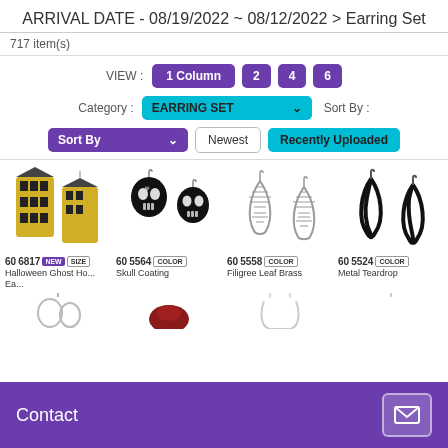ARRIVAL DATE - 08/19/2022 ~ 08/12/2022 > Earring Set
717 item(s)
[Figure (screenshot): View selector buttons: 1 Column, 2, 4, 6]
[Figure (screenshot): Category dropdown: EARRING SET; Sort By label]
[Figure (screenshot): Sort By dropdown, Newest button, Recently Uploaded button]
[Figure (screenshot): Product grid showing 4 earring items: 606817 Halloween Ghost Ho... Ea..., 605564 Skull Coating, 605558 Filigree Leaf Brass, 605524 Metal Teardrop]
[Figure (screenshot): Contact bar with envelope icon at bottom]
[Figure (screenshot): Bottom strip partial product images]